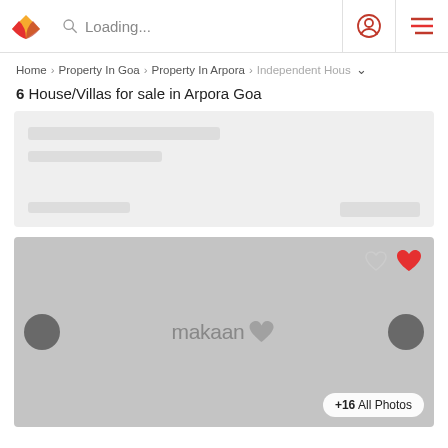Loading...
Home > Property In Goa > Property In Arpora > Independent House
6 House/Villas for sale in Arpora Goa
[Figure (screenshot): Loading skeleton card with gray placeholder bars]
[Figure (screenshot): Makaan.com property image placeholder with navigation arrows, heart icons, and +16 All Photos button]